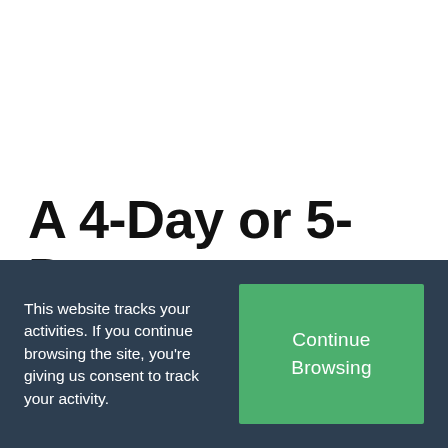A 4-Day or 5-Day Homeschool Schedule, Which One is Best for
This website tracks your activities. If you continue browsing the site, you're giving us consent to track your activity.
Continue Browsing